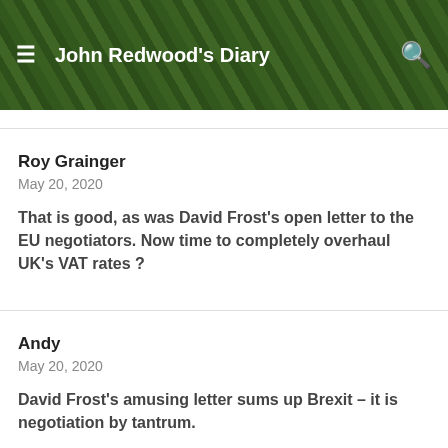John Redwood's Diary
Roy Grainger
May 20, 2020
That is good, as was David Frost's open letter to the EU negotiators. Now time to completely overhaul UK's VAT rates ?
Andy
May 20, 2020
David Frost's amusing letter sums up Brexit – it is negotiation by tantrum.